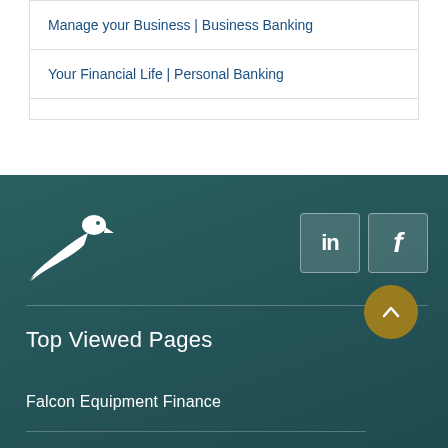Manage your Business | Business Banking
Your Financial Life | Personal Banking
[Figure (logo): Falcon bank eagle logo in white on teal background]
[Figure (logo): LinkedIn social media icon - white 'in' on semi-transparent square]
[Figure (logo): Facebook social media icon - white 'f' on semi-transparent square]
Top Viewed Pages
Falcon Equipment Finance